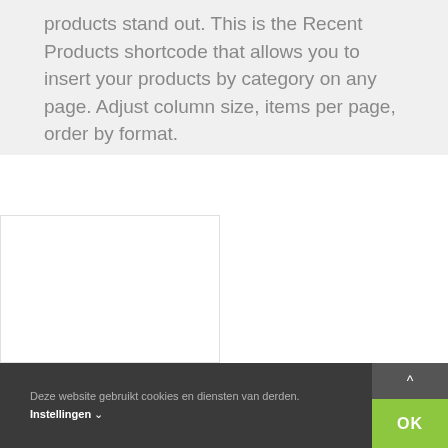products stand out. This is the Recent Products shortcode that allows you to insert your products by category on any page. Adjust column size, items per page, order by format.
[Figure (other): A white product card box with a border on the left side of a white content area]
Deze website gebruikt cookies en diensten van derden. Instellingen